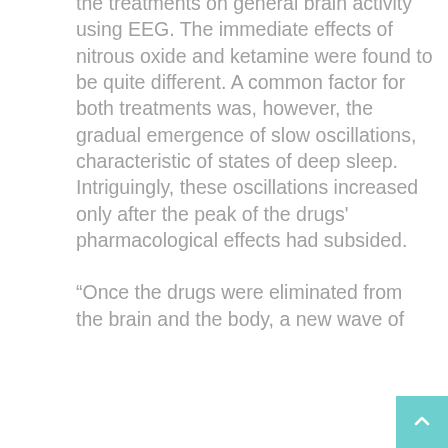the treatments on general brain activity using EEG. The immediate effects of nitrous oxide and ketamine were found to be quite different. A common factor for both treatments was, however, the gradual emergence of slow oscillations, characteristic of states of deep sleep. Intriguingly, these oscillations increased only after the peak of the drugs' pharmacological effects had subsided.

"Once the drugs were eliminated from the brain and the body, a new wave of